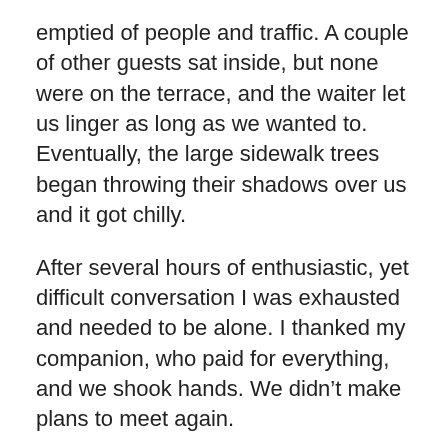emptied of people and traffic. A couple of other guests sat inside, but none were on the terrace, and the waiter let us linger as long as we wanted to. Eventually, the large sidewalk trees began throwing their shadows over us and it got chilly.
After several hours of enthusiastic, yet difficult conversation I was exhausted and needed to be alone. I thanked my companion, who paid for everything, and we shook hands. We didn’t make plans to meet again.
It’s not that I suddenly loved Paris, but this encounter helped me transform the remainder of my time there. I felt I could be here—or maybe anywhere—without feeling that everybody and everything around me was hostile. I realized that the people and their city didn’t care about me one way or another. From the looks of it, they were